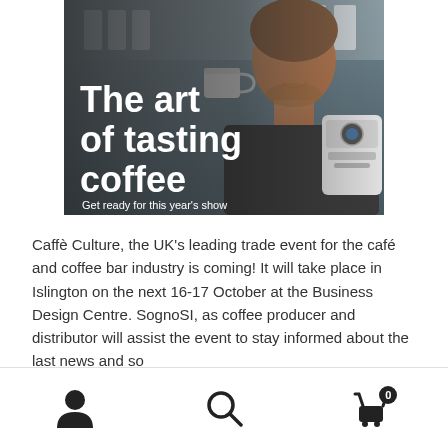[Figure (photo): A man smiling and holding a white coffee cup, with a coffee grinder visible. Overlaid bold white text reads 'The art of tasting coffee' with subtitle 'Get ready for this year's show'.]
Caffè Culture, the UK's leading trade event for the café and coffee bar industry is coming! It will take place in Islington on the next 16-17 October at the Business Design Centre. SognoSI, as coffee producer and distributor will assist the event to stay informed about the last news and so
Navigation icons: user account, search, cart (0)